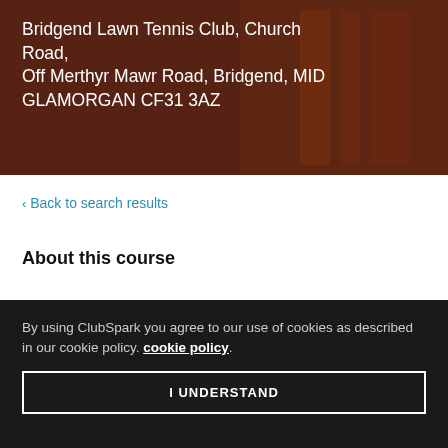[Figure (photo): Hero image showing tennis players in orange jerseys with dark overlay, partially visible on the right side]
Bridgend Lawn Tennis Club, Church Road, Off Merthyr Mawr Road, Bridgend, MID GLAMORGAN CF31 3AZ
< Back to search results
About this course
| Field | Value |
| --- | --- |
| Date: | Thu, 28 Apr - Thu, 21 Jul 2022 |
| Time: | 17:00 - 18:00 |
By using ClubSpark you agree to our use of cookies as described in our cookie policy. cookie policy.
I UNDERSTAND